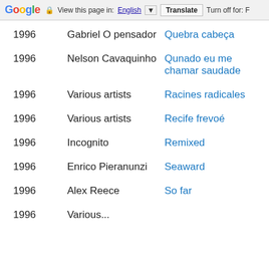Google | View this page in: English [▼] | Translate | Turn off for: F
| Year | Artist | Album |
| --- | --- | --- |
| 1996 | Gabriel O pensador | Quebra cabeça |
| 1996 | Nelson Cavaquinho | Qunado eu me chamar saudade |
| 1996 | Various artists | Racines radicales |
| 1996 | Various artists | Recife frevoé |
| 1996 | Incognito | Remixed |
| 1996 | Enrico Pieranunzi | Seaward |
| 1996 | Alex Reece | So far |
| 1996 | Various... |  |